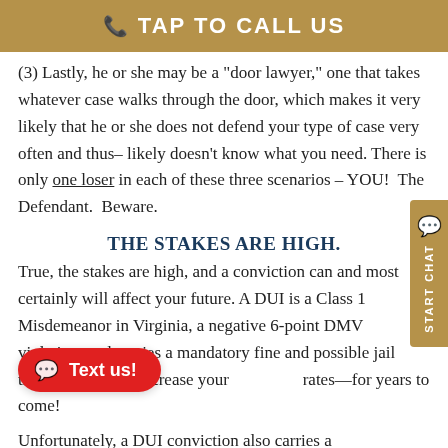TAP TO CALL US
(3) Lastly, he or she may be a "door lawyer," one that takes whatever case walks through the door, which makes it very likely that he or she does not defend your type of case very often and thus– likely doesn't know what you need. There is only one loser in each of these three scenarios – YOU! The Defendant. Beware.
THE STAKES ARE HIGH.
True, the stakes are high, and a conviction can and most certainly will affect your future. A DUI is a Class 1 Misdemeanor in Virginia, a negative 6-point DMV violation, and carries a mandatory fine and possible jail time. Also, it can increase your [insurance rates]—for years to come!
Unfortunately, a DUI conviction also carries a